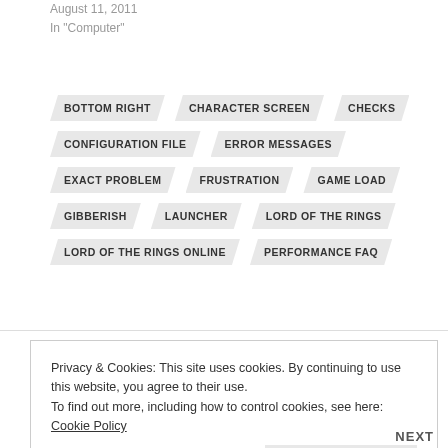August 11, 2011
In "Computer"
BOTTOM RIGHT
CHARACTER SCREEN
CHECKS
CONFIGURATION FILE
ERROR MESSAGES
EXACT PROBLEM
FRUSTRATION
GAME LOAD
GIBBERISH
LAUNCHER
LORD OF THE RINGS
LORD OF THE RINGS ONLINE
PERFORMANCE FAQ
Privacy & Cookies: This site uses cookies. By continuing to use this website, you agree to their use.
To find out more, including how to control cookies, see here: Cookie Policy
Close and accept
NEXT